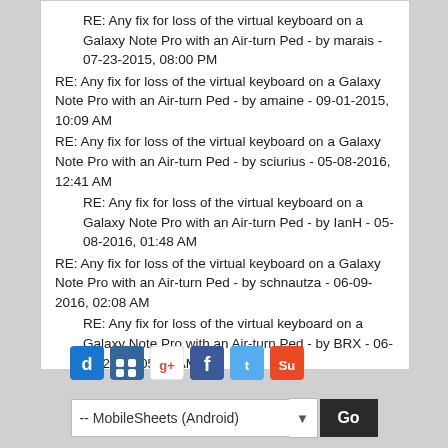RE: Any fix for loss of the virtual keyboard on a Galaxy Note Pro with an Air-turn Ped - by marais - 07-23-2015, 08:00 PM
RE: Any fix for loss of the virtual keyboard on a Galaxy Note Pro with an Air-turn Ped - by amaine - 09-01-2015, 10:09 AM
RE: Any fix for loss of the virtual keyboard on a Galaxy Note Pro with an Air-turn Ped - by sciurius - 05-08-2016, 12:41 AM
RE: Any fix for loss of the virtual keyboard on a Galaxy Note Pro with an Air-turn Ped - by IanH - 05-08-2016, 01:48 AM
RE: Any fix for loss of the virtual keyboard on a Galaxy Note Pro with an Air-turn Ped - by schnautza - 06-09-2016, 02:08 AM
RE: Any fix for loss of the virtual keyboard on a Galaxy Note Pro with an Air-turn Ped - by BRX - 06-09-2016, 05:40 AM
[Figure (infographic): Social sharing icons row: digg, delicious, google+, facebook, twitter, stumbleupon]
-- MobileSheets (Android)   Go